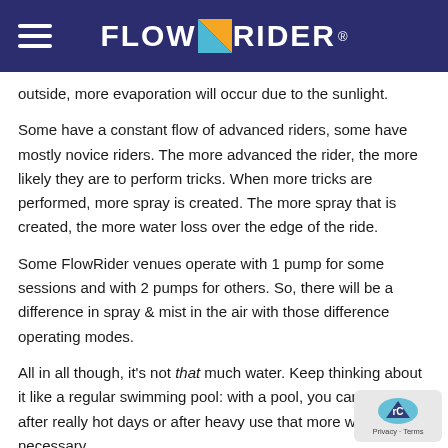FLOWRIDER®
outside, more evaporation will occur due to the sunlight.
Some have a constant flow of advanced riders, some have mostly novice riders. The more advanced the rider, the more likely they are to perform tricks. When more tricks are performed, more spray is created. The more spray that is created, the more water loss over the edge of the ride.
Some FlowRider venues operate with 1 pump for some sessions and with 2 pumps for others. So, there will be a difference in spray & mist in the air with those difference operating modes.
All in all though, it's not that much water. Keep thinking about it like a regular swimming pool: with a pool, you can expect after really hot days or after heavy use that more water will be necessary.